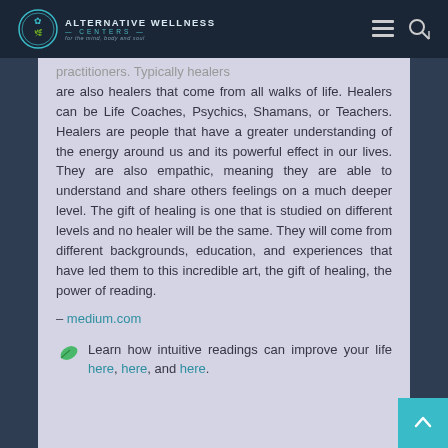Alternative Wellness Centers — for the mind, body and soul
practitioners. Typically healers are also healers that come from all walks of life. Healers can be Life Coaches, Psychics, Shamans, or Teachers. Healers are people that have a greater understanding of the energy around us and its powerful effect in our lives. They are also empathic, meaning they are able to understand and share others feelings on a much deeper level. The gift of healing is one that is studied on different levels and no healer will be the same. They will come from different backgrounds, education, and experiences that have led them to this incredible art, the gift of healing, the power of reading.
– medium.com
Learn how intuitive readings can improve your life here, here, and here.